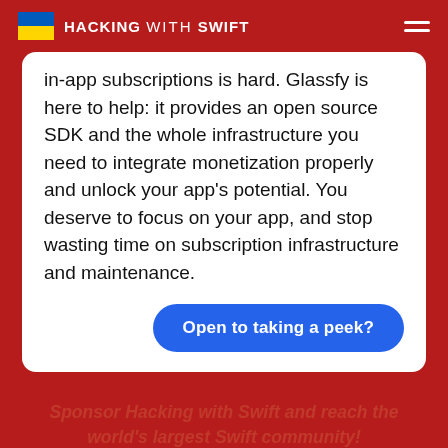HACKING WITH SWIFT
in-app subscriptions is hard. Glassfy is here to help: it provides an open source SDK and the whole infrastructure you need to integrate monetization properly and unlock your app's potential. You deserve to focus on your app, and stop wasting time on subscription infrastructure and maintenance.
Open to taking a peek?
Sponsor Hacking with Swift and reach the world's largest Swift community!